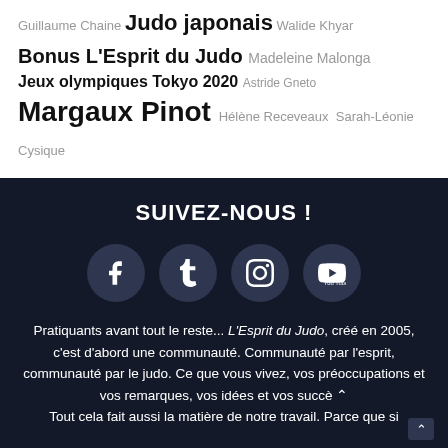Guillaume Chaine Judo japonais Walide Khyar
Bonus L'Esprit du Judo Madeleine Malonga
Jeux olympiques Tokyo 2020 Astride Gneto
Margaux Pinot Hélène Receveaux Sarah-Léonie Cysique
SUIVEZ-NOUS !
[Figure (infographic): Four social media icons on dark background: Facebook (f), Tumblr (t), Instagram (camera), YouTube (play button)]
Pratiquants avant tout le reste... L'Esprit du Judo, créé en 2005, c'est d'abord une communauté. Communauté par l'esprit, communauté par le judo. Ce que vous vivez, vos préoccupations et vos remarques, vos idées et vos succè... Tout cela fait aussi la matière de notre travail. Parce que si